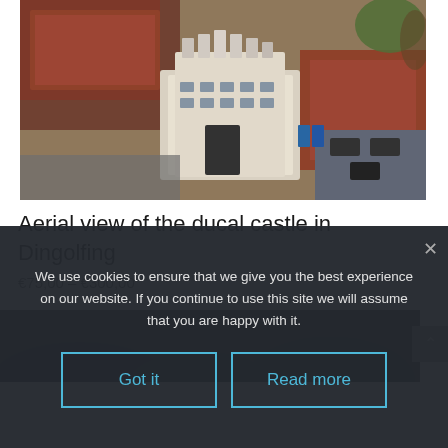[Figure (photo): Aerial view of the ducal castle in Dingolfing, showing rooftops of historic buildings from above]
Aerial view of the ducal castle in Dingolfing
€75,00 – €300,00
[Figure (photo): Partial view of another photo partially hidden under cookie banner, shows mountain/landscape scene]
We use cookies to ensure that we give you the best experience on our website. If you continue to use this site we will assume that you are happy with it.
Got it
Read more